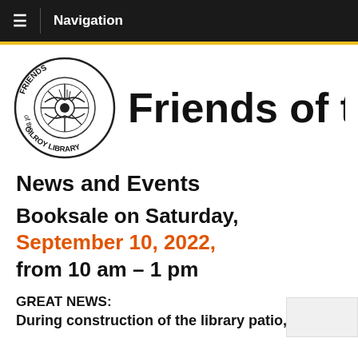Navigation
[Figure (logo): Friends of the Gilroy Library circular logo with bird/sun design]
Friends of the Gi[lroy Library]
News and Events
Booksale on Saturday, September 10, 2022, from 10 am – 1 pm
GREAT NEWS:
During construction of the library patio, we